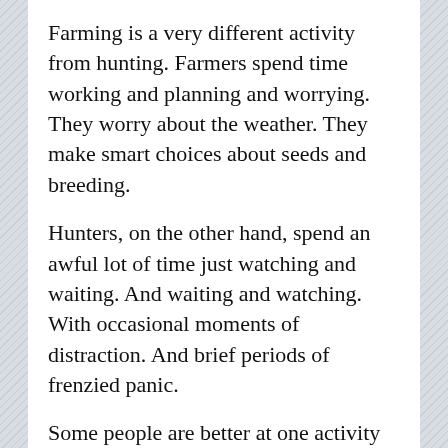Farming is a very different activity from hunting. Farmers spend time working and planning and worrying. They worry about the weather. They make smart choices about seeds and breeding.
Hunters, on the other hand, spend an awful lot of time just watching and waiting. And waiting and watching. With occasional moments of distraction. And brief periods of frenzied panic.
Some people are better at one activity than another. And then tend to approach life rather differently as a result. Farmers like meetings and plans. Hunters want to try stuff and see what happens.
Farmers want to avoid epic failure. Hunters want a high-stakes mission. Farmers like